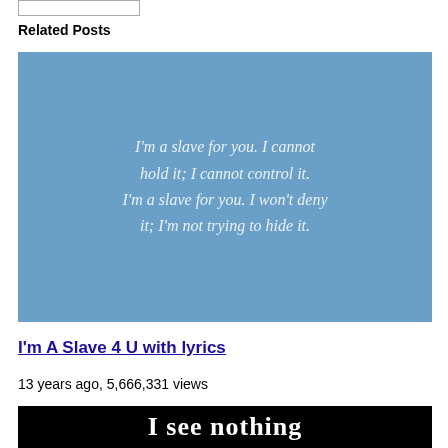Related Posts
[Figure (photo): Blue background image with white italic lyrics text: I'm a slave for you. I cannot hold it; I cannot control it. I'm a slave for you. I won't deny it; I'm not trying to hide it.]
I'm A Slave 4 U with lyrics
13 years ago, 5,666,331 views
[Figure (photo): Black background image with white bold text beginning 'I see nothing']